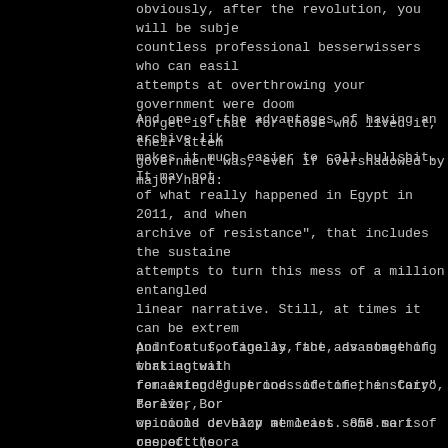obviously, after the revolution, you will be subject to countless professional besserwissers who can easily say your attempts at overthrowing your government were doomed. What they forget is that for those who lived it, their attempt to topple government was, even if overshadowed by major hardships, a success.
And one of the advantages of having an archive like 858.ma makes it much easier to call bullshit. It may not change accounts of what really happened in Egypt in 2011, and when we build the archive of resistance", that includes the sustained and painstaking attempts to turn this mess of a million entangled events into a linear narrative. Still, at times it can be extremely useful to point at footage as fact, as something that actually happened vs remaining "just one side of the story" forever, or fading into opinions or hazy memories. 858.ma is one of the rare documents that can be used in court to get people in jail, but also in fantastic science-fiction films. (Of course, when we say "get in jail", we don't mean the people who have filmed or are runnning the site, but their adversaries - how states deal with is entirely different issue. And when we say "science-fiction" we don't claim that any of them has ever been finished, at least not yet.)
And for us, finally, the advantage of working with the archive for extended periods of time, in Cairo, Berlin, Boston... is that we could develop at least some sort of respect (sometimes hatred) software, but that's not the point here) for people who have sustained it for a while, and such "people" are usually not heroes, but rather normal folks like anyone else, and that relationships can descend into friendship, which is of course nice.